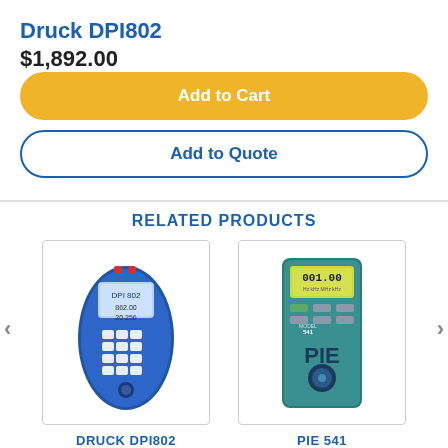Druck DPI802
$1,892.00
Add to Cart
Add to Quote
RELATED PRODUCTS
[Figure (photo): Photo of Druck DPI802 handheld calibrator instrument, blue and white device with keypad and display]
DRUCK DPI802
[Figure (photo): Photo of PIE 541 handheld frequency calibrator, teal colored device with numeric display showing 001.00 and control knob]
PIE 541